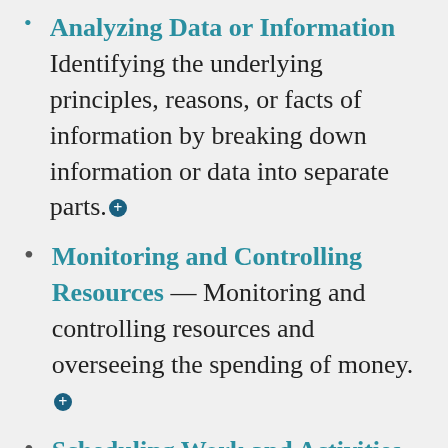Analyzing Data or Information — Identifying the underlying principles, reasons, or facts of information by breaking down information or data into separate parts.
Monitoring and Controlling Resources — Monitoring and controlling resources and overseeing the spending of money.
Scheduling Work and Activities — Scheduling events, programs, and activities, as well as the work of others.
Guiding, Directing, and Motivating Subordinates — Providing guidance and direction to subordinates.